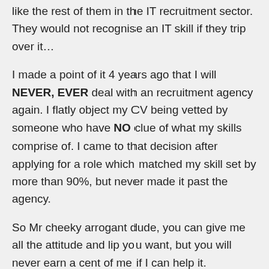like the rest of them in the IT recruitment sector. They would not recognise an IT skill if they trip over it…
I made a point of it 4 years ago that I will NEVER, EVER deal with an recruitment agency again. I flatly object my CV being vetted by someone who have NO clue of what my skills comprise of. I came to that decision after applying for a role which matched my skill set by more than 90%, but never made it past the agency.
So Mr cheeky arrogant dude, you can give me all the attitude and lip you want, but you will never earn a cent of me if I can help it.